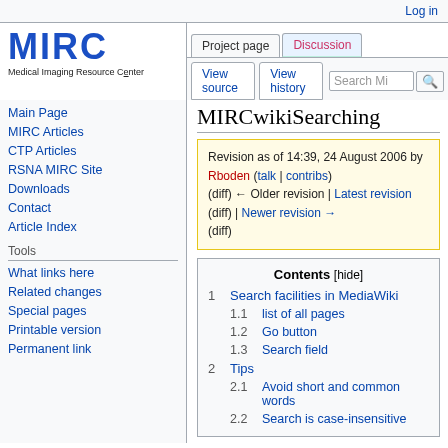Log in
[Figure (logo): MIRC logo with text 'Medical Imaging Resource Center']
Project page | Discussion | View source | View history | Search Mi
MIRCwikiSearching
Revision as of 14:39, 24 August 2006 by Rboden (talk | contribs) (diff) ← Older revision | Latest revision (diff) | Newer revision → (diff)
Main Page
MIRC Articles
CTP Articles
RSNA MIRC Site
Downloads
Contact
Article Index
Tools
What links here
Related changes
Special pages
Printable version
Permanent link
Contents [hide]
1 Search facilities in MediaWiki
  1.1 list of all pages
  1.2 Go button
  1.3 Search field
2 Tips
  2.1 Avoid short and common words
  2.2 Search is case-insensitive